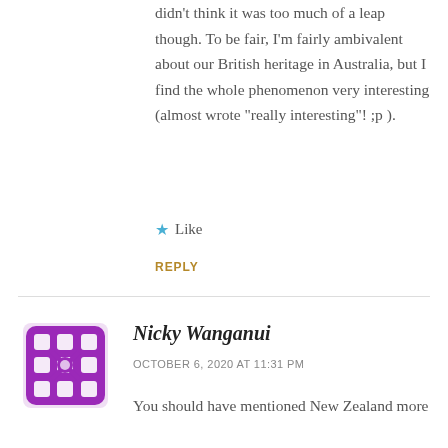didn't think it was too much of a leap though. To be fair, I'm fairly ambivalent about our British heritage in Australia, but I find the whole phenomenon very interesting (almost wrote “really interesting”! ;p ).
★  Like
REPLY
Nicky Wanganui
OCTOBER 6, 2020 AT 11:31 PM
You should have mentioned New Zealand more